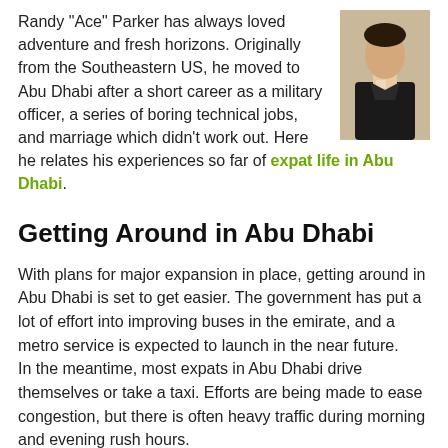Randy "Ace" Parker has always loved adventure and fresh horizons. Originally from the Southeastern US, he moved to Abu Dhabi after a short career as a military officer, a series of boring technical jobs, and marriage which didn't work out. Here he relates his experiences so far of expat life in Abu Dhabi.
[Figure (photo): Portrait photo of Randy 'Ace' Parker, a man in dark clothing]
Getting Around in Abu Dhabi
With plans for major expansion in place, getting around in Abu Dhabi is set to get easier. The government has put a lot of effort into improving buses in the emirate, and a metro service is expected to launch in the near future.
In the meantime, most expats in Abu Dhabi drive themselves or take a taxi. Efforts are being made to ease congestion, but there is often heavy traffic during morning and evening rush hours.
A bicycle-sharing scheme is available but is mainly used